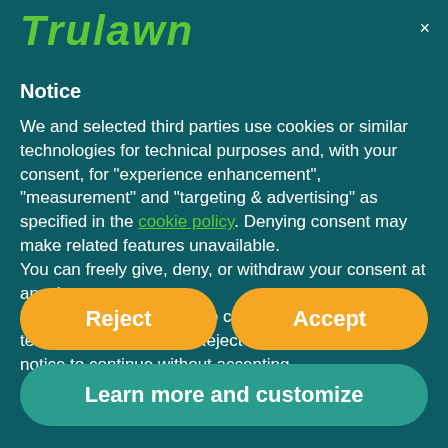[Figure (logo): Trulawn logo in bold green italic text on teal background]
Notice
We and selected third parties use cookies or similar technologies for technical purposes and, with your consent, for “experience enhancement”, “measurement” and “targeting & advertising” as specified in the cookie policy. Denying consent may make related features unavailable.
You can freely give, deny, or withdraw your consent at any time.
Use the “Accept” button to consent to the use of such technologies. Use the “Reject” button or close this notice to continue without accepting.
Reject
Accept
Learn more and customize